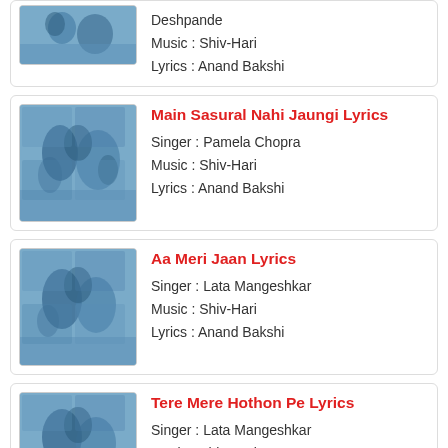[Figure (photo): Partial movie album art - blue tinted photo of actors]
Deshpande
Music : Shiv-Hari
Lyrics : Anand Bakshi
[Figure (photo): Movie album art - blue tinted photo of actors]
Main Sasural Nahi Jaungi Lyrics
Singer : Pamela Chopra
Music : Shiv-Hari
Lyrics : Anand Bakshi
[Figure (photo): Movie album art - blue tinted photo of actors]
Aa Meri Jaan Lyrics
Singer : Lata Mangeshkar
Music : Shiv-Hari
Lyrics : Anand Bakshi
[Figure (photo): Movie album art - blue tinted photo of actors]
Tere Mere Hothon Pe Lyrics
Singer : Lata Mangeshkar
Music : Shiv-Hari